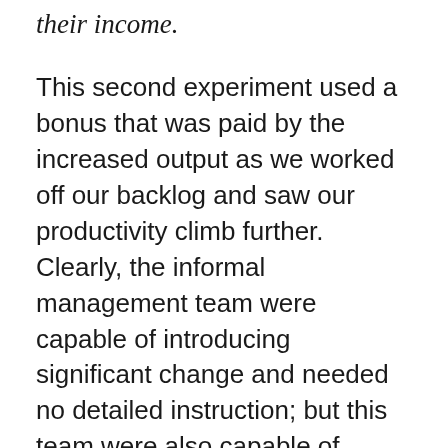their income.
This second experiment used a bonus that was paid by the increased output as we worked off our backlog and saw our productivity climb further. Clearly, the informal management team were capable of introducing significant change and needed no detailed instruction; but this team were also capable of successfully blocking any imposed change.
Because we found this informal team so readily manipulable it was clearly not operating maliciously or perhaps even consciously. Of course, if the behavior isn't conscious (perhaps simply an emergent